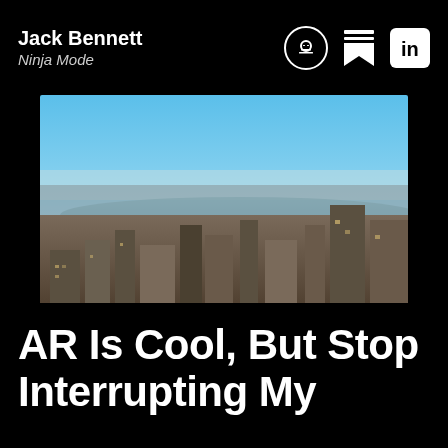Jack Bennett
Ninja Mode
[Figure (photo): Aerial panoramic view of a dense urban cityscape (New York City) with skyscrapers in the foreground, a river in the mid-ground, and a clear blue sky above.]
AR Is Cool, But Stop Interrupting My